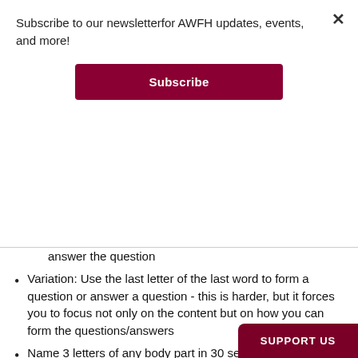Subscribe to our newsletterfor AWFH updates, events, and more!
Subscribe
answer the question
Variation: Use the last letter of the last word to form a question or answer a question - this is harder, but it forces you to focus not only on the content but on how you can form the questions/answers
Name 3 letters of any body part in 30 second: most adults can only do up to 7 but kids can do more
SUPPORT US